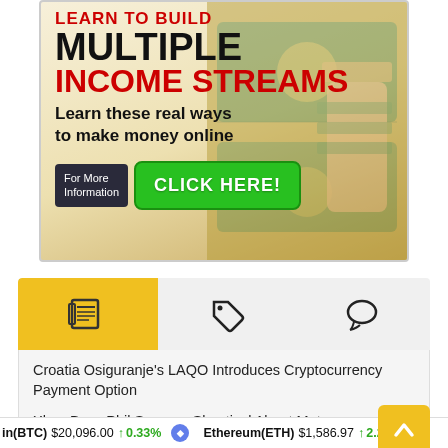[Figure (infographic): Advertisement banner: 'LEARN TO BUILD MULTIPLE INCOME STREAMS - Learn these real ways to make money online - For More Information CLICK HERE!' with cash/money imagery]
[Figure (screenshot): Website tab bar with three tabs: newspaper icon (active, yellow background), tag icon, and chat bubble icon]
Croatia Osiguranje's LAQO Introduces Cryptocurrency Payment Option
Xbox Boss Phil Spencer Skeptical About Metaverse,
in(BTC) $20,096.00 ↑ 0.33%   Ethereum(ETH) $1,586.97 ↑ 2.289%